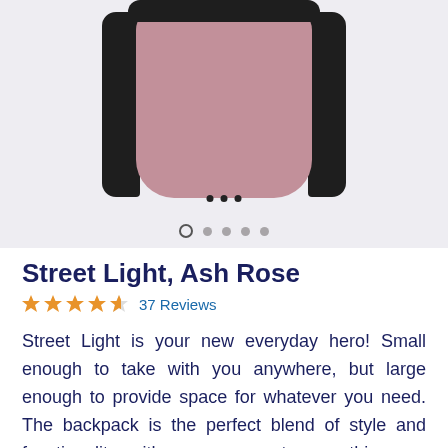[Figure (photo): Photo of a Street Light Ash Rose backpack with dark trim against a light gray background, with navigation dots below the image]
Street Light, Ash Rose
★★★★½ 37 Reviews
Street Light is your new everyday hero! Small enough to take with you anywhere, but large enough to provide space for whatever you need. The backpack is the perfect blend of style and functionality, with easy access to everything you carry.